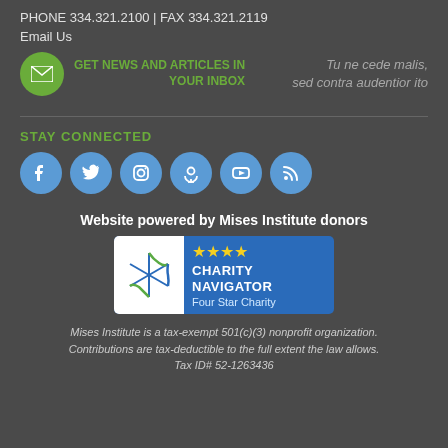PHONE 334.321.2100 | FAX 334.321.2119
Email Us
[Figure (infographic): Green circle email icon with newsletter signup label 'GET NEWS AND ARTICLES IN YOUR INBOX' in green text, and italic Latin quote 'Tu ne cede malis, sed contra audentior ito' in gray on the right]
STAY CONNECTED
[Figure (infographic): Six blue circular social media icons: Facebook, Twitter, Instagram, Podcast, YouTube, RSS]
Website powered by Mises Institute donors
[Figure (logo): Charity Navigator Four Star Charity badge with blue background, white pinwheel logo, yellow stars, and text 'CHARITY NAVIGATOR Four Star Charity']
Mises Institute is a tax-exempt 501(c)(3) nonprofit organization. Contributions are tax-deductible to the full extent the law allows. Tax ID# 52-1263436